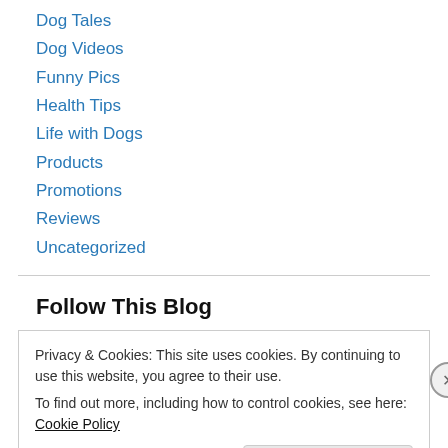Dog Tales
Dog Videos
Funny Pics
Health Tips
Life with Dogs
Products
Promotions
Reviews
Uncategorized
Follow This Blog
Privacy & Cookies: This site uses cookies. By continuing to use this website, you agree to their use.
To find out more, including how to control cookies, see here: Cookie Policy
Close and accept